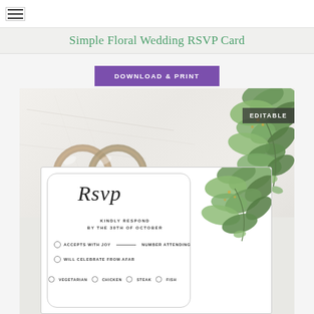Simple Floral Wedding RSVP Card
Simple Floral Wedding RSVP Card
DOWNLOAD & PRINT
[Figure (photo): Wedding preview image showing two gold wedding rings on a marble surface with greenery in the top right corner, and a Simple Floral Wedding RSVP Card template in the lower portion showing 'Rsvp', 'KINDLY RESPOND BY THE 30th OF OCTOBER', checkboxes for 'ACCEPTS WITH JOY', 'WILL CELEBRATE FROM AFAR', and meal options 'VEGETARIAN', 'CHICKEN', 'STEAK', 'FISH'. An EDITABLE badge appears in the upper right.]